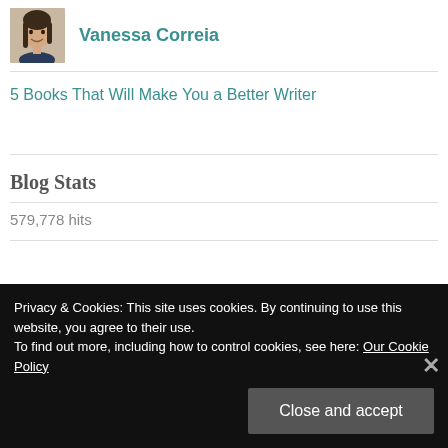[Figure (photo): Profile photo of Vanessa Correia, a woman with dark hair, smiling.]
Vanessa Correia
5 Books That Will Make You a Better Writer
Blog Stats
579,778 hits
Privacy & Cookies: This site uses cookies. By continuing to use this website, you agree to their use.
To find out more, including how to control cookies, see here: Our Cookie Policy